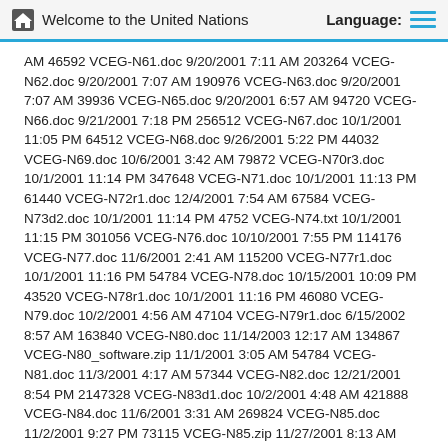Welcome to the United Nations   Language:
AM 46592 VCEG-N61.doc 9/20/2001 7:11 AM 203264 VCEG-N62.doc 9/20/2001 7:07 AM 190976 VCEG-N63.doc 9/20/2001 7:07 AM 39936 VCEG-N65.doc 9/20/2001 6:57 AM 94720 VCEG-N66.doc 9/21/2001 7:18 PM 256512 VCEG-N67.doc 10/1/2001 11:05 PM 64512 VCEG-N68.doc 9/26/2001 5:22 PM 44032 VCEG-N69.doc 10/6/2001 3:42 AM 79872 VCEG-N70r3.doc 10/1/2001 11:14 PM 347648 VCEG-N71.doc 10/1/2001 11:13 PM 61440 VCEG-N72r1.doc 12/4/2001 7:54 AM 67584 VCEG-N73d2.doc 10/1/2001 11:14 PM 4752 VCEG-N74.txt 10/1/2001 11:15 PM 301056 VCEG-N76.doc 10/10/2001 7:55 PM 114176 VCEG-N77.doc 11/6/2001 2:41 AM 115200 VCEG-N77r1.doc 10/1/2001 11:16 PM 54784 VCEG-N78.doc 10/15/2001 10:09 PM 43520 VCEG-N78r1.doc 10/1/2001 11:16 PM 46080 VCEG-N79.doc 10/2/2001 4:56 AM 47104 VCEG-N79r1.doc 6/15/2002 8:57 AM 163840 VCEG-N80.doc 11/14/2003 12:17 AM 134867 VCEG-N80_software.zip 11/1/2001 3:05 AM 54784 VCEG-N81.doc 11/3/2001 4:17 AM 57344 VCEG-N82.doc 12/21/2001 8:54 PM 2147328 VCEG-N83d1.doc 10/2/2001 4:48 AM 421888 VCEG-N84.doc 11/6/2001 3:31 AM 269824 VCEG-N85.doc 11/2/2001 9:27 PM 73115 VCEG-N85.zip 11/27/2001 8:13 AM 274432 VCEG-N85r1.doc 11/26/2001 10:59 PM 74290